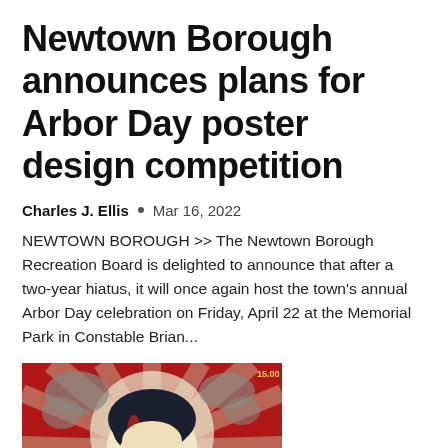Newtown Borough announces plans for Arbor Day poster design competition
Charles J. Ellis  •  Mar 16, 2022
NEWTOWN BOROUGH >> The Newtown Borough Recreation Board is delighted to announce that after a two-year hiatus, it will once again host the town's annual Arbor Day celebration on Friday, April 22 at the Memorial Park in Constable Brian...
[Figure (illustration): Stylized graphic illustration of a man's face in a propaganda poster art style, with red background, rays emanating from behind his head, and gray/blue color scheme]
Lorana Rodriguez wins poster...